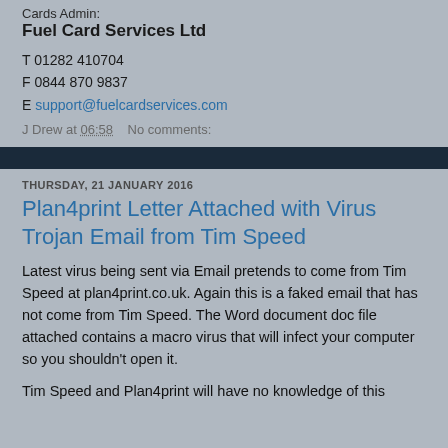Cards Admin:
Fuel Card Services Ltd
T 01282 410704
F 0844 870 9837
E support@fuelcardservices.com
J Drew at 06:58    No comments:
THURSDAY, 21 JANUARY 2016
Plan4print Letter Attached with Virus Trojan Email from Tim Speed
Latest virus being sent via Email pretends to come from Tim Speed at plan4print.co.uk. Again this is a faked email that has not come from Tim Speed. The Word document doc file attached contains a macro virus that will infect your computer so you shouldn't open it.
Tim Speed and Plan4print will have no knowledge of this